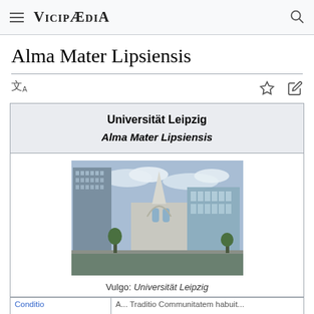Vicipaedia
Alma Mater Lipsiensis
| Universität Leipzig
Alma Mater Lipsiensis |
| [photo of Universität Leipzig building]
Vulgo: Universität Leipzig |
Conditio   A... Traditio   Communitatem habuit...